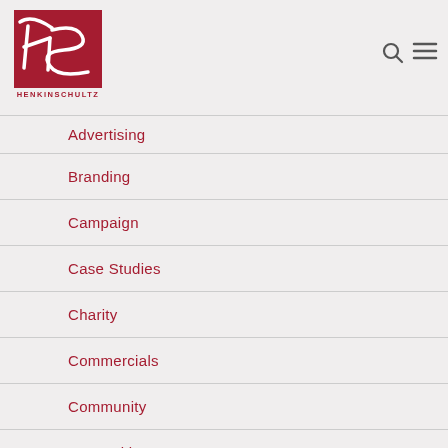[Figure (logo): HenkinSchultz logo — red square background with white stylized HS letters, text HENKINSCHULTZ below]
Advertising
Branding
Campaign
Case Studies
Charity
Commercials
Community
Copywriting
Creativity